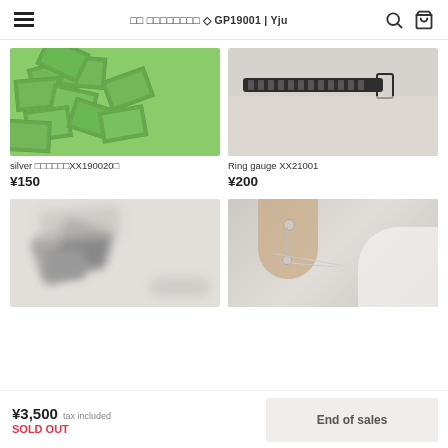◇ GP19001 | Yju
[Figure (photo): Multiple green card/soap-like rectangular objects piled together with embossed text]
silver □□□□□□XX190020
¥150
[Figure (photo): Ring gauge tool - a black leather or rubber strap with metal sizing holes on a white fabric background]
Ring gauge XX21001
¥200
[Figure (photo): Close-up of metal clip or clasp accessory on white background, blurred]
[Figure (photo): Woman wearing pearl drop earrings and a necklace, face partially visible]
¥3,500 tax included
SOLD OUT
End of sales